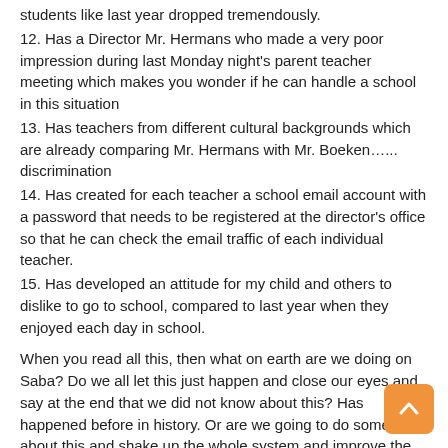students like last year dropped tremendously.
12. Has a Director Mr. Hermans who made a very poor impression during last Monday night’s parent teacher meeting which makes you wonder if he can handle a school in this situation
13. Has teachers from different cultural backgrounds which are already comparing Mr. Hermans with Mr. Boeken…… discrimination
14. Has created for each teacher a school email account with a password that needs to be registered at the director’s office so that he can check the email traffic of each individual teacher.
15. Has developed an attitude for my child and others to dislike to go to school, compared to last year when they enjoyed each day in school.
When you read all this, then what on earth are we doing on Saba? Do we all let this just happen and close our eyes and say at the end that we did not know about this? Has happened before in history. Or are we going to do something about this and shake up the whole system and improve the learning conditions for our children.
Education is something you should not take for granted. The tax payers are paying to improve the education of each child, therefore we should demand